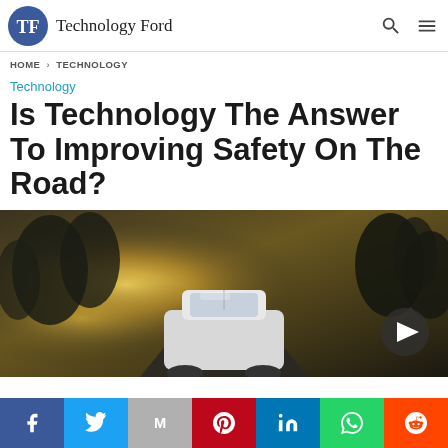Technology Ford
HOME › TECHNOLOGY
Technology
Is Technology The Answer To Improving Safety On The Road?
[Figure (photo): Rear view of a car on a road at sunset with golden bokeh background and a play button overlay]
Social share bar: Facebook, Twitter, Gmail, Pinterest, LinkedIn, WhatsApp, Reddit